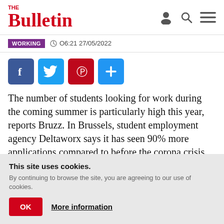The Bulletin
WORKING   06:21 27/05/2022
[Figure (other): Social media sharing buttons: Facebook, Twitter, Pinterest, and a plus/share button]
The number of students looking for work during the coming summer is particularly high this year, reports Bruzz. In Brussels, student employment agency Deltaworx says it has seen 90% more applications compared to before the corona crisis.
Although sectors traditionally popular with young
This site uses cookies.
By continuing to browse the site, you are agreeing to our use of cookies.
OK   More information